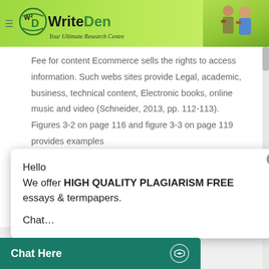WriteDen — Your Ultimate Research Centre
Fee for content Ecommerce sells the rights to access information. Such webs sites provide Legal, academic, business, technical content, Electronic books, online music and video (Schneider, 2013, pp. 112-113). Figures 3-2 on page 116 and figure 3-3 on page 119 provides examples
[Figure (screenshot): Chat popup overlay with message: Hello / We offer HIGH QUALITY PLAGIARISM FREE essays & termpapers. / Chat...]
Creating effective web presences are
age 133
objectives and